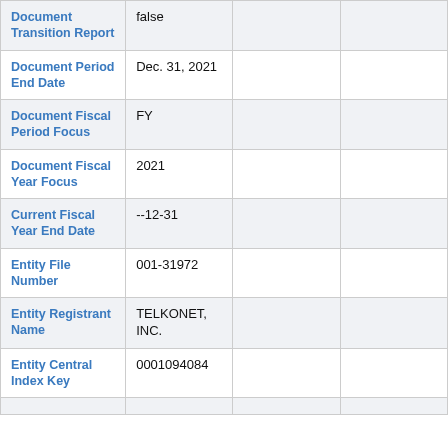| Document Transition Report | false |  |  |
| Document Period End Date | Dec. 31, 2021 |  |  |
| Document Fiscal Period Focus | FY |  |  |
| Document Fiscal Year Focus | 2021 |  |  |
| Current Fiscal Year End Date | --12-31 |  |  |
| Entity File Number | 001-31972 |  |  |
| Entity Registrant Name | TELKONET, INC. |  |  |
| Entity Central Index Key | 0001094084 |  |  |
|  |  |  |  |